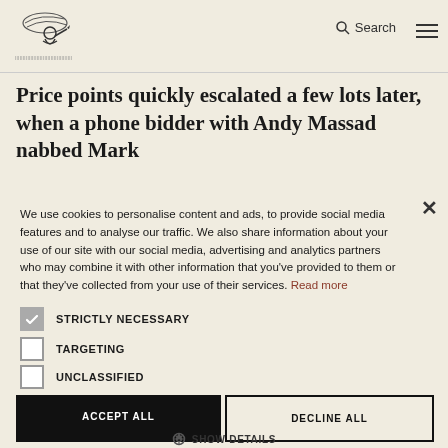[Figure (logo): Publication logo with illustrated figure and text]
price of $5,037,500.
Price points quickly escalated a few lots later, when a phone bidder with Andy Massad nabbed Mark
We use cookies to personalise content and ads, to provide social media features and to analyse our traffic. We also share information about your use of our site with our social media, advertising and analytics partners who may combine it with other information that you've provided to them or that they've collected from your use of their services. Read more
STRICTLY NECESSARY
TARGETING
UNCLASSIFIED
ACCEPT ALL
DECLINE ALL
SHOW DETAILS